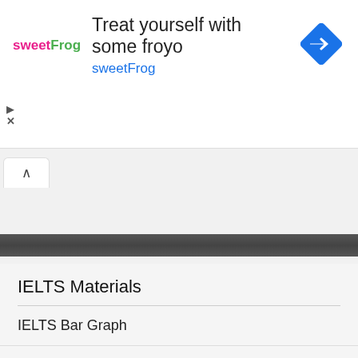[Figure (screenshot): Advertisement banner for sweetFrog frozen yogurt with logo, headline 'Treat yourself with some froyo', subtext 'sweetFrog', a blue diamond navigation icon, and ad control icons (play and close).]
IELTS Materials
IELTS Bar Graph
IELTS Line Graph
IELTS Table Chart
IELTS Flow Chart (partially visible)